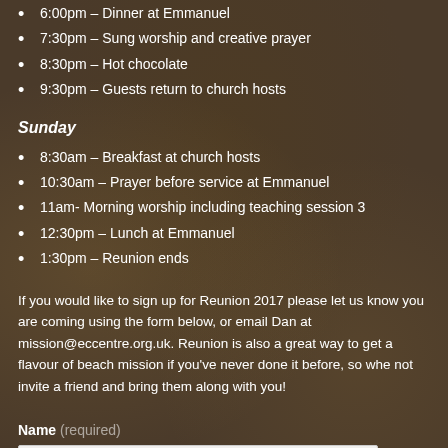6:00pm – Dinner at Emmanuel
7:30pm – Sung worship and creative prayer
8:30pm – Hot chocolate
9:30pm – Guests return to church hosts
Sunday
8:30am – Breakfast at church hosts
10:30am – Prayer before service at Emmanuel
11am- Morning worship including teaching session 3
12:30pm – Lunch at Emmanuel
1:30pm – Reunion ends
If you would like to sign up for Reunion 2017 please let us know you are coming using the form below, or email Dan at mission@eccentre.org.uk. Reunion is also a great way to get a flavour of beach mission if you've never done it before, so whe not invite a friend and bring them along with you!
Name (required)
Email (required)